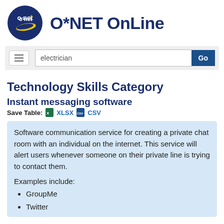[Figure (logo): O*NET OnLine logo with circular dark blue badge containing 'o·net' text and yellow swoosh, next to bold dark blue 'O*NET OnLine' text]
[Figure (screenshot): Search bar with hamburger menu icon on left, text input showing 'electrician', and blue 'Go' button on right]
Technology Skills Category
Instant messaging software
Save Table:  XLSX  CSV
Software communication service for creating a private chat room with an individual on the internet. This service will alert users whenever someone on their private line is trying to contact them.
Examples include:
GroupMe
Twitter